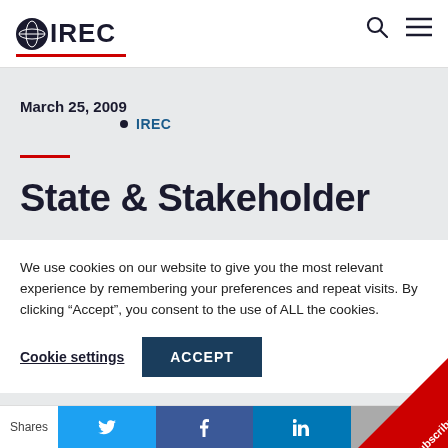IREC
March 25, 2009
IREC
State & Stakeholder
We use cookies on our website to give you the most relevant experience by remembering your preferences and repeat visits. By clicking “Accept”, you consent to the use of ALL the cookies.
Cookie settings  ACCEPT
Newsletter tracks a range of market-oriented p
Shares  [Twitter] [Facebook] [LinkedIn] [Email]  Subscribe